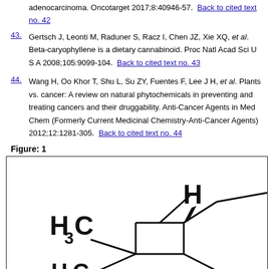adenocarcinoma. Oncotarget 2017;8:40946-57. Back to cited text no. 42
43. Gertsch J, Leonti M, Raduner S, Racz I, Chen JZ, Xie XQ, et al. Beta-caryophyllene is a dietary cannabinoid. Proc Natl Acad Sci U S A 2008;105:9099-104. Back to cited text no. 43
44. Wang H, Oo Khor T, Shu L, Su ZY, Fuentes F, Lee J H, et al. Plants vs. cancer: A review on natural phytochemicals in preventing and treating cancers and their druggability. Anti-Cancer Agents in Med Chem (Formerly Current Medicinal Chemistry-Anti-Cancer Agents) 2012;12:1281-305. Back to cited text no. 44
Figure: 1
[Figure (engineering-diagram): Chemical structure diagram showing a bicyclic molecule with H3C groups at bottom left, H at top right with a bold wedge bond, and additional carbon chain extending to the right. This appears to be the partial structure of beta-caryophyllene or a related terpene compound.]